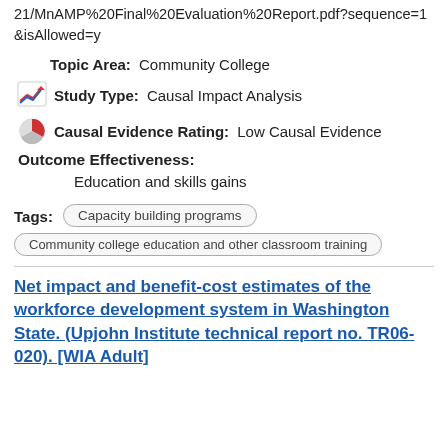21/MnAMP%20Final%20Evaluation%20Report.pdf?sequence=1&isAllowed=y
Topic Area: Community College
Study Type: Causal Impact Analysis
Causal Evidence Rating: Low Causal Evidence
Outcome Effectiveness:
Education and skills gains
Tags: Capacity building programs
Community college education and other classroom training
Net impact and benefit-cost estimates of the workforce development system in Washington State. (Upjohn Institute technical report no. TR06-020). [WIA Adult]